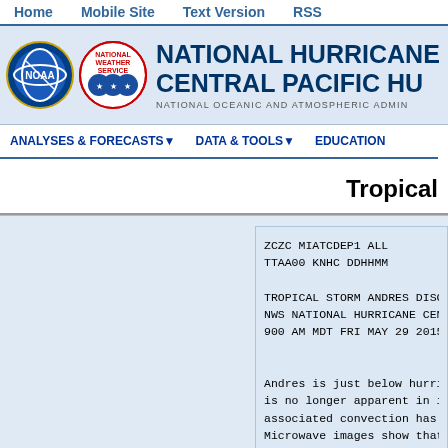Home | Mobile Site | Text Version | RSS
[Figure (logo): NOAA and National Weather Service logos with National Hurricane Center / Central Pacific Hurricane Center header and NOAA tagline]
ANALYSES & FORECASTS▼  DATA & TOOLS▼  EDUCATION
Tropical
ZCZC MIATCDEP1 ALL
TTAA00 KNHC DDHHMM

TROPICAL STORM ANDRES DISCUSS
NWS NATIONAL HURRICANE CENTER
900 AM MDT FRI MAY 29 2015


Andres is just below hurrica
is no longer apparent in infr
associated convection has bee
Microwave images show that th
with well-defined banding to